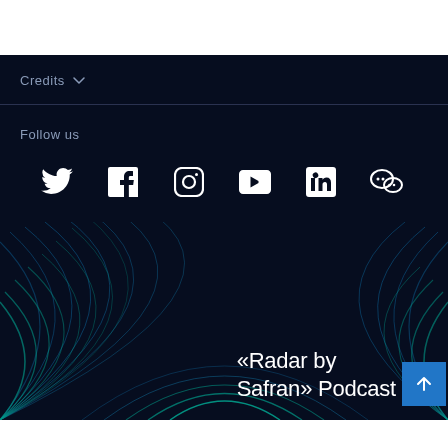Credits
Follow us
[Figure (other): Social media icons: Twitter, Facebook, Instagram, YouTube, LinkedIn, WeChat]
[Figure (illustration): Radar wave animation background with concentric arc lines in blue/teal tones]
«Radar by Safran» Podcast